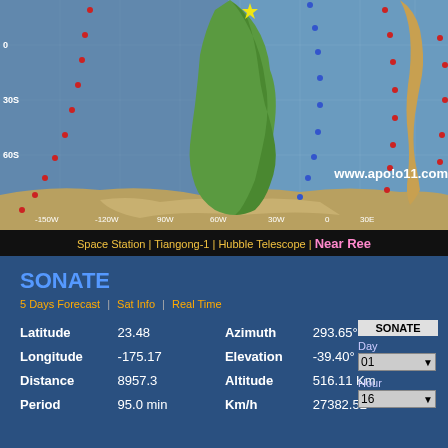[Figure (map): World map showing satellite ground track with red and blue dotted trail lines over the Atlantic/Pacific region. Shows latitude labels 0, 30S, 60S and longitude labels -150W, -120W, 90W, 60W, 30W, 0, 30E. Watermark: www.apo!o11.com]
Space Station | Tiangong-1 | Hubble Telescope | Near Ree...
SONATE
5 Days Forecast  |  Sat Info  |  Real Time
| Field | Value | Field | Value |
| --- | --- | --- | --- |
| Latitude | 23.48 | Azimuth | 293.65° |
| Longitude | -175.17 | Elevation | -39.40° |
| Distance | 8957.3 | Altitude | 516.11 Km |
| Period | 95.0 min | Km/h | 27382.52 |